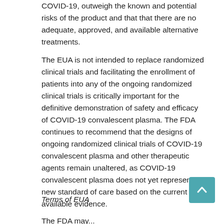COVID-19, outweigh the known and potential risks of the product and that that there are no adequate, approved, and available alternative treatments.
The EUA is not intended to replace randomized clinical trials and facilitating the enrollment of patients into any of the ongoing randomized clinical trials is critically important for the definitive demonstration of safety and efficacy of COVID-19 convalescent plasma. The FDA continues to recommend that the designs of ongoing randomized clinical trials of COVID-19 convalescent plasma and other therapeutic agents remain unaltered, as COVID-19 convalescent plasma does not yet represent a new standard of care based on the current available evidence.
Terms of EUA
The FDA may...